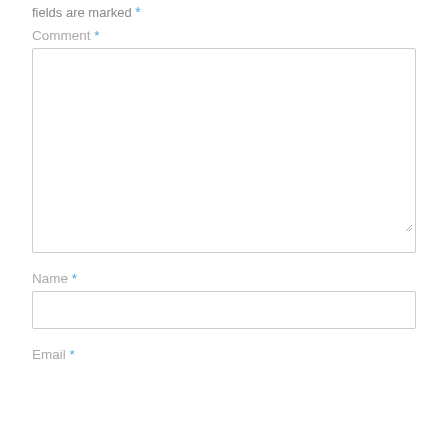fields are marked *
Comment *
[Figure (other): Large empty textarea input box with resize handle in bottom-right corner]
Name *
[Figure (other): Single-line text input box for Name field]
Email *